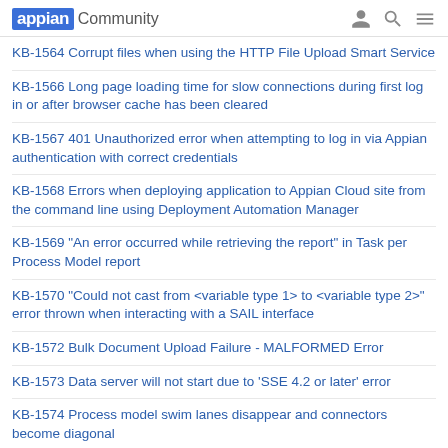appian Community
KB-1564 Corrupt files when using the HTTP File Upload Smart Service
KB-1566 Long page loading time for slow connections during first log in or after browser cache has been cleared
KB-1567 401 Unauthorized error when attempting to log in via Appian authentication with correct credentials
KB-1568 Errors when deploying application to Appian Cloud site from the command line using Deployment Automation Manager
KB-1569 "An error occurred while retrieving the report" in Task per Process Model report
KB-1570 "Could not cast from <variable type 1> to <variable type 2>" error thrown when interacting with a SAIL interface
KB-1572 Bulk Document Upload Failure - MALFORMED Error
KB-1573 Data server will not start due to 'SSE 4.2 or later' error
KB-1574 Process model swim lanes disappear and connectors become diagonal
KB-1575 How to enable loggers for commonly seen Appian issues
KB-1576 Deleting a News Feed entry from Tempo throws a 500 error when using Weblogic application server
KB-1577 "Expected 256, was 257" exception regarding Appian engine security token prevents engine startup